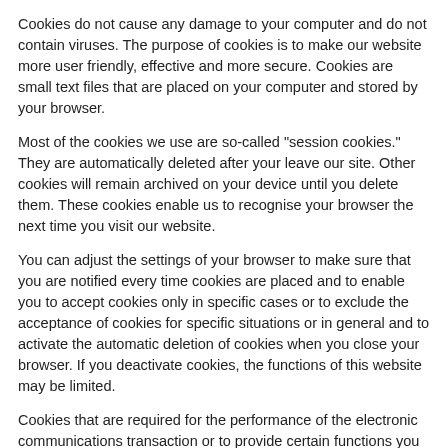Cookies do not cause any damage to your computer and do not contain viruses. The purpose of cookies is to make our website more user friendly, effective and more secure. Cookies are small text files that are placed on your computer and stored by your browser.
Most of the cookies we use are so-called "session cookies." They are automatically deleted after your leave our site. Other cookies will remain archived on your device until you delete them. These cookies enable us to recognise your browser the next time you visit our website.
You can adjust the settings of your browser to make sure that you are notified every time cookies are placed and to enable you to accept cookies only in specific cases or to exclude the acceptance of cookies for specific situations or in general and to activate the automatic deletion of cookies when you close your browser. If you deactivate cookies, the functions of this website may be limited.
Cookies that are required for the performance of the electronic communications transaction or to provide certain functions you want to use (e.g. the shopping cart function), are stored on the basis of Art. 6 Sect. 1 lit. f GDPR. The website operator has a legitimate interest in storing cookies to ensure the technically error free and optimised provision of the operator's services. If other cookies (e.g. cookies for the analysis of your browsing patterns) should be stored, they are addressed separately in this Data Protection Declaration.
Server log files